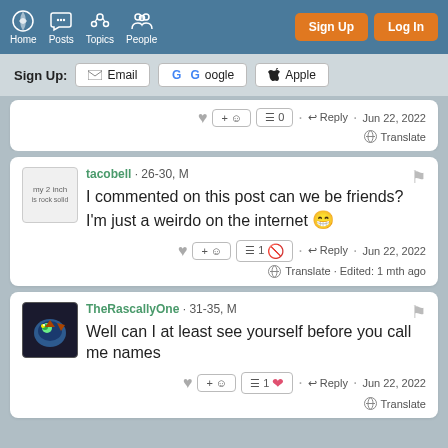Home Posts Topics People | Sign Up | Log In
Sign Up: Email | Google | Apple
+ ☺ ☰0 · Reply · Jun 22, 2022 · Translate
tacobell · 26-30, M — I commented on this post can we be friends? I'm just a weirdo on the internet 😁
☰1 · Reply · Jun 22, 2022 · Translate · Edited: 1 mth ago
TheRascallyOne · 31-35, M — Well can I at least see yourself before you call me names
☰1 ❤ · Reply · Jun 22, 2022 · Translate